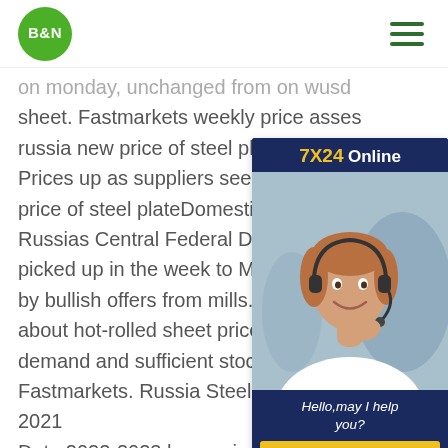B&N
on monday, unchanged from on wusd... sheet. Fastmarkets weekly price asses... russia new price of steel plate RUSSIA... Prices up as suppliers seek to regain h... price of steel plateDomestic flat steel p... Russias Central Federal District aroun... picked up in the week to Monday Octo... by bullish offers from mills. But buyers ... about hot-rolled sheet price growth, citing slow demand and sufficient stocks, sources told Fastmarkets. Russia Steel Production 1992-2021 Data 2022-2023 hp russia new price of steel plateSteel Production in Russia increased to 6700 Thousand Tonnes in July from 6400 Thou...
[Figure (photo): Customer service representative wearing headset smiling, with 7X24 Online banner, Hello may I help you? text, and Get Latest Price button]